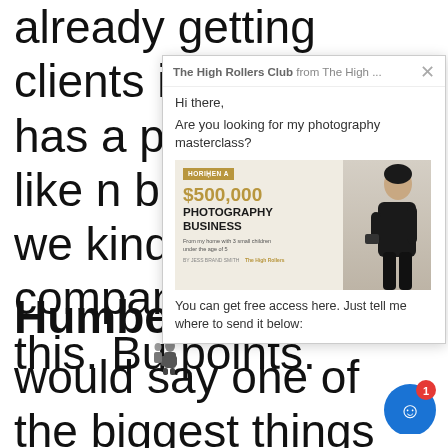already getting clients is already has a pretty already like n biggest thing we kind of h company. Ev to do this. Bu points.
Humberto G
would say one of the biggest things we do is we always, always, alwa layer our ads. So that means we
[Figure (screenshot): Popup overlay from 'The High Rollers Club from The High...' with greeting 'Hi there,' and message 'Are you looking for my photography masterclass?' followed by a book cover image for '$500,000 Photography Business' and text 'You can get free access here. Just tell me where to send it below:']
[Figure (other): Blue chat button with white smiley face icon and red badge showing number 1]